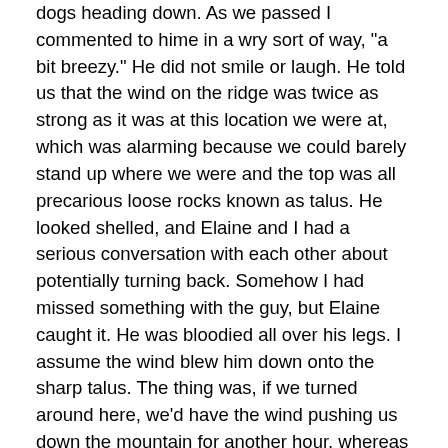dogs heading down. As we passed I commented to hime in a wry sort of way, "a bit breezy." He did not smile or laugh. He told us that the wind on the ridge was twice as strong as it was at this location we were at, which was alarming because we could barely stand up where we were and the top was all precarious loose rocks known as talus. He looked shelled, and Elaine and I had a serious conversation with each other about potentially turning back. Somehow I had missed something with the guy, but Elaine caught it. He was bloodied all over his legs. I assume the wind blew him down onto the sharp talus. The thing was, if we turned around here, we'd have the wind pushing us down the mountain for another hour, whereas in theory the top was only thirty minutes away and then, after the descent, we'd be in a much lower and more sheltered valley. We agreed to keep going but to be careful.
We picked our way up ribbons of snow and as we did so,